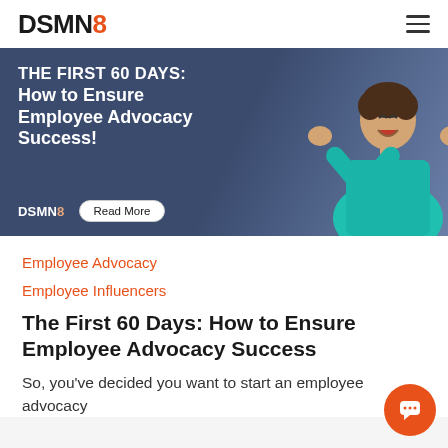DSMN8
[Figure (illustration): Banner advertisement with dark blue background showing a man in a teal shirt celebrating with fists raised. White bold text reads: THE FIRST 60 DAYS: How to Ensure Employee Advocacy Success! DSMN8 logo and Read More button at bottom left.]
Employee Advocacy
Employee Influencers
The First 60 Days: How to Ensure Employee Advocacy Success
So, you've decided you want to start an employee advocacy program? So, you've already